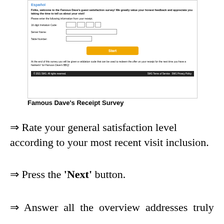[Figure (screenshot): Screenshot of Famous Dave's guest satisfaction survey webpage showing Español link, welcome message, form fields for 16-digit Invitation Code, Server Name, Table Number, a yellow Start button, validation code message, and footer with SMG Terms of Service and SMG Privacy Policy links.]
Famous Dave's Receipt Survey
⇒ Rate your general satisfaction level according to your most recent visit inclusion.
⇒ Press the 'Next' button.
⇒ Answer all the overview addresses truly